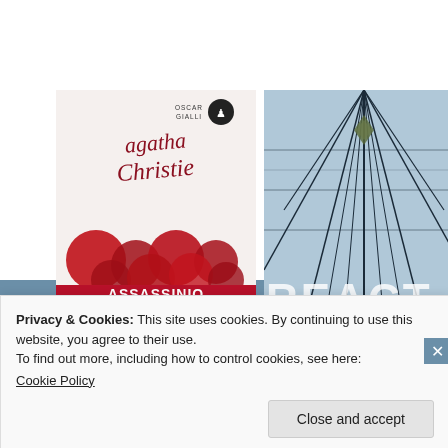apparently, my new favorite author.
4 stars:
[Figure (photo): Book cover of Agatha Christie's 'Assassinio sull'Orient Express' (Murder on the Orient Express) - Italian edition, Oscar Gialli series. Red background with cursive Agatha Christie signature, red circles/berries at bottom.]
[Figure (photo): Book cover showing geometric/architectural pattern in blue-grey tones with 'REACT' text visible at bottom.]
Privacy & Cookies: This site uses cookies. By continuing to use this website, you agree to their use.
To find out more, including how to control cookies, see here:
Cookie Policy
Close and accept